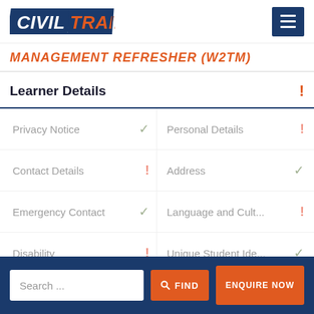Civil Train - logo and navigation menu
MANAGEMENT REFRESHER (W2TM)
Learner Details
Privacy Notice - check
Personal Details - exclamation
Contact Details - exclamation
Address - check
Emergency Contact - check
Language and Cult... - exclamation
Disability - exclamation
Unique Student Ide... - check
Search ... | FIND | ENQUIRE NOW